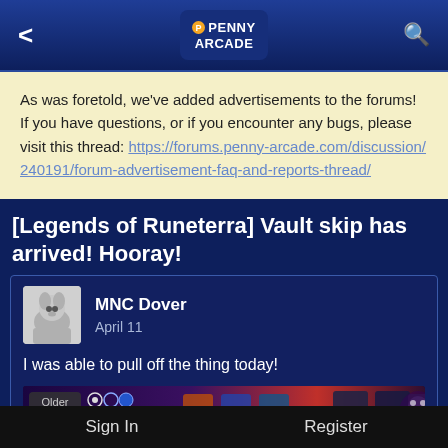Penny Arcade
As was foretold, we've added advertisements to the forums! If you have questions, or if you encounter any bugs, please visit this thread: https://forums.penny-arcade.com/discussion/240191/forum-advertisement-faq-and-reports-thread/
[Legends of Runeterra] Vault skip has arrived! Hooray!
MNC Dover
April 11
I was able to pull off the thing today!
[Figure (screenshot): In-game screenshot from Legends of Runeterra showing game board with cards and UI elements including an 'Older' button in the top left corner.]
Sign In    Register